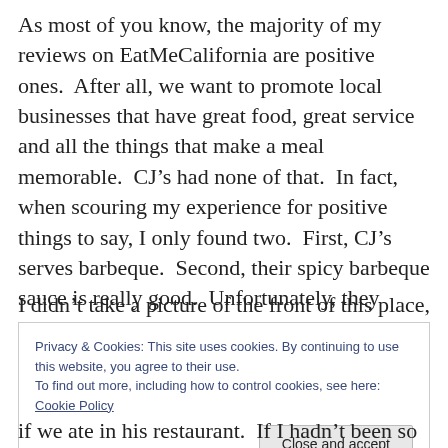As most of you know, the majority of my reviews on EatMeCalifornia are positive ones.  After all, we want to promote local businesses that have great food, great service and all the things that make a meal memorable.  CJ’s had none of that.  In fact, when scouring my experience for positive things to say, I only found two.  First, CJ’s serves barbeque.  Second, their spicy barbeque sauce is really good.  Unfortunately, they don’t serve anything that I’d like to put the aforementioned sauce on.
I didn’t take a picture of the front of this place, mostly
Privacy & Cookies: This site uses cookies. By continuing to use this website, you agree to their use.
To find out more, including how to control cookies, see here: Cookie Policy
Close and accept
if we ate in his restaurant.  If I hadn’t been so hungry, we